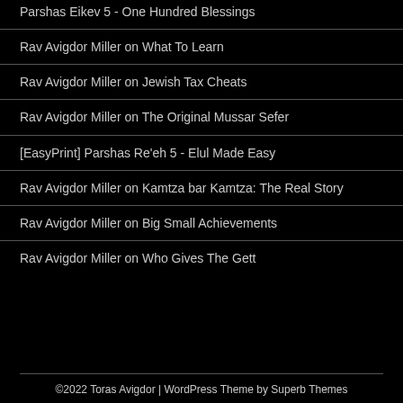Parshas Eikev 5 - One Hundred Blessings
Rav Avigdor Miller on What To Learn
Rav Avigdor Miller on Jewish Tax Cheats
Rav Avigdor Miller on The Original Mussar Sefer
[EasyPrint] Parshas Re'eh 5 - Elul Made Easy
Rav Avigdor Miller on Kamtza bar Kamtza: The Real Story
Rav Avigdor Miller on Big Small Achievements
Rav Avigdor Miller on Who Gives The Gett
©2022 Toras Avigdor | WordPress Theme by Superb Themes